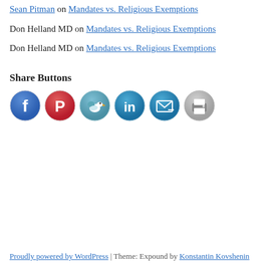Sean Pitman on Mandates vs. Religious Exemptions
Don Helland MD on Mandates vs. Religious Exemptions
Don Helland MD on Mandates vs. Religious Exemptions
Share Buttons
[Figure (infographic): Row of six social share icon buttons: Facebook (blue circle with F), Pinterest (red circle with P), Twitter/Tweetmeme (teal circle with bird), LinkedIn (blue circle with in), Email (blue circle with envelope arrow), Print (grey circle with printer)]
Proudly powered by WordPress | Theme: Expound by Konstantin Kovshenin